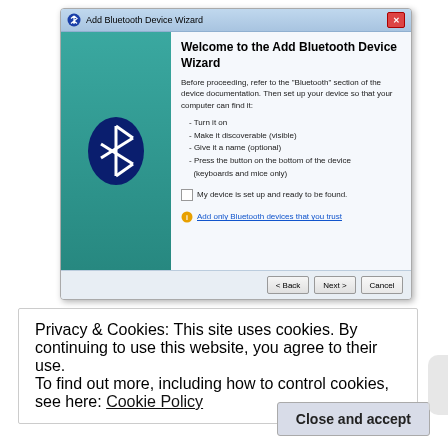[Figure (screenshot): Windows 'Add Bluetooth Device Wizard' dialog box screenshot. Shows a teal panel on the left with a Bluetooth logo, and on the right: title 'Welcome to the Add Bluetooth Device Wizard', instructional text, bullet points, a checkbox 'My device is set up and ready to be found', a link 'Add only Bluetooth devices that you trust', and Back/Next/Cancel buttons.]
Privacy & Cookies: This site uses cookies. By continuing to use this website, you agree to their use.
To find out more, including how to control cookies, see here: Cookie Policy
Close and accept